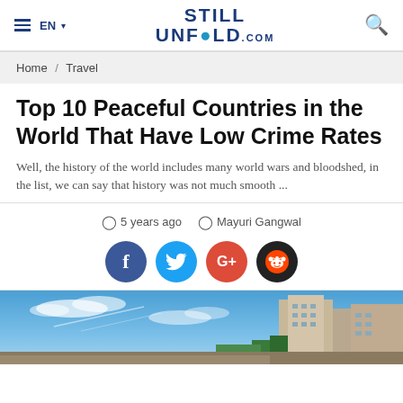≡ EN ▾  STILL UNFOLD.com  🔍
Home / Travel
Top 10 Peaceful Countries in the World That Have Low Crime Rates
Well, the history of the world includes many world wars and bloodshed, in the list, we can say that history was not much smooth ...
🕐 5 years ago  👤 Mayuri Gangwal
[Figure (infographic): Social sharing icons: Facebook (blue circle, f), Twitter (cyan circle, bird), Google+ (red circle, G+), Reddit (dark circle, alien logo)]
[Figure (photo): Outdoor photo showing blue sky with clouds and a building/city skyline visible on the right side]